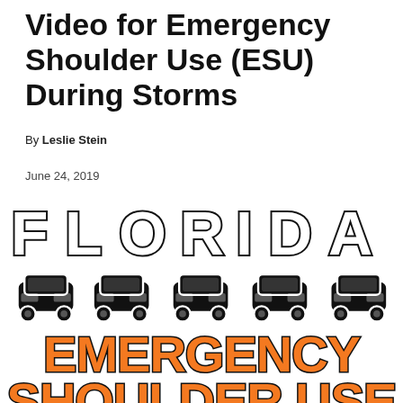Video for Emergency Shoulder Use (ESU) During Storms
By Leslie Stein
June 24, 2019
[Figure (illustration): Florida Emergency Shoulder Use graphic showing the word FLORIDA in large outlined block letters, five car icons in a row, and the words EMERGENCY SHOULDER USE in large orange bold letters with black outline.]